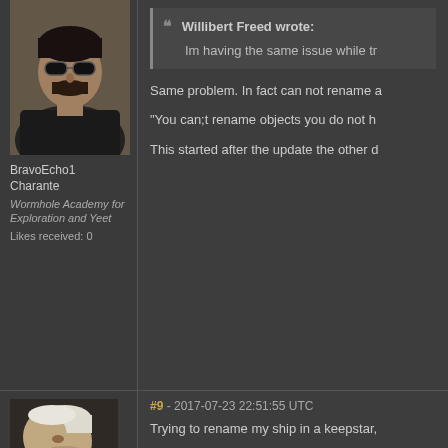[Figure (photo): Avatar of BravoEcho1 Charante - a male character with dark hair and sunglasses]
BravoEcho1 Charante
Wormhole Academy for Exploration and Yeet
Likes received: 0
Willibert Freed wrote: Im having the same issue while tr
Same problem. In fact can not rename a
"You can;t rename objects you do not h
This started after the update the other d
#9 - 2017-07-23 22:51:55 UTC
Trying to rename my ship in a keepstar,
[Figure (photo): Avatar of another player - a bald/white-haired male character in a dark jacket, profile view]